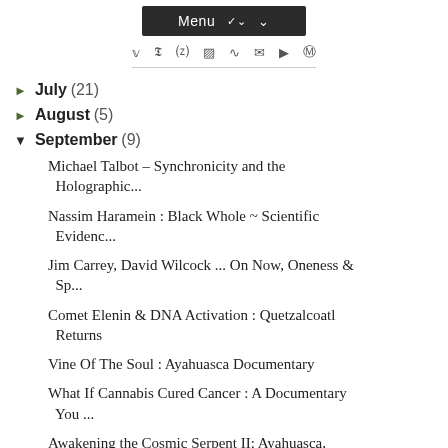Menu
July (21)
August (5)
September (9)
Michael Talbot – Synchronicity and the Holographic...
Nassim Haramein : Black Whole ~ Scientific Evidenc...
Jim Carrey, David Wilcock ... On Now, Oneness & Sp...
Comet Elenin & DNA Activation : Quetzalcoatl Returns
Vine Of The Soul : Ayahuasca Documentary
What If Cannabis Cured Cancer : A Documentary You ...
Awakening the Cosmic Serpent II: Ayahuasca, Ancien...